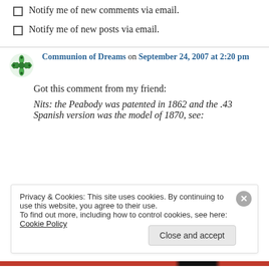Notify me of new comments via email.
Notify me of new posts via email.
Communion of Dreams on September 24, 2007 at 2:20 pm
Got this comment from my friend:
Nits: the Peabody was patented in 1862 and the .43 Spanish version was the model of 1870, see:
Privacy & Cookies: This site uses cookies. By continuing to use this website, you agree to their use. To find out more, including how to control cookies, see here: Cookie Policy